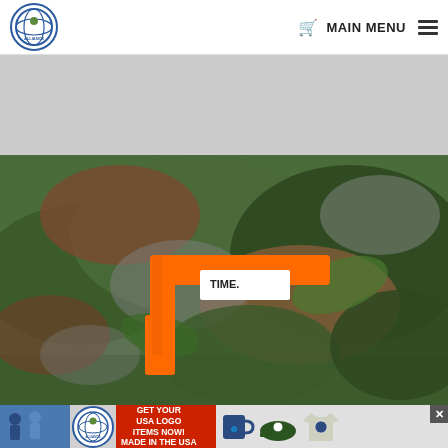MAIN MENU
[Figure (photo): Close-up photo of camouflage clothing/gear laid on grass with an orange tourniquet attached, showing a white label tag that reads TIME.]
[Figure (photo): Bottom advertisement banner for Union Sportsmen's Alliance showing logo, text 'GET YOUR USA LOGO ITEMS NOW! MADE IN THE USA', and product images including a mug, cap, and t-shirt with a close button (x).]